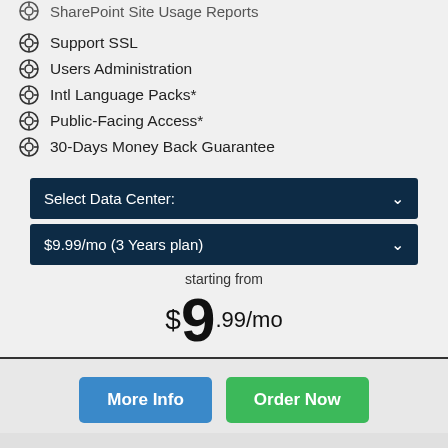SharePoint Site Usage Reports
Support SSL
Users Administration
Intl Language Packs*
Public-Facing Access*
30-Days Money Back Guarantee
Select Data Center:
$9.99/mo (3 Years plan)
starting from
$9.99/mo
More Info
Order Now